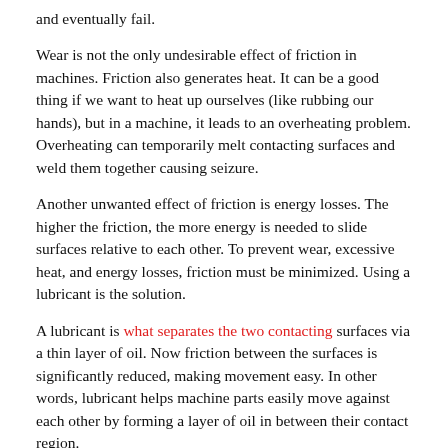and eventually fail.
Wear is not the only undesirable effect of friction in machines. Friction also generates heat. It can be a good thing if we want to heat up ourselves (like rubbing our hands), but in a machine, it leads to an overheating problem. Overheating can temporarily melt contacting surfaces and weld them together causing seizure.
Another unwanted effect of friction is energy losses. The higher the friction, the more energy is needed to slide surfaces relative to each other. To prevent wear, excessive heat, and energy losses, friction must be minimized. Using a lubricant is the solution.
A lubricant is what separates the two contacting surfaces via a thin layer of oil. Now friction between the surfaces is significantly reduced, making movement easy. In other words, lubricant helps machine parts easily move against each other by forming a layer of oil in between their contact region.
Despite having a lubricant, wear can still occur due to factors such as load, speed, and temperature will affect the thickness of the oil layer. This is known as lubrication type, which is a topic to be covered in the next newsletter.